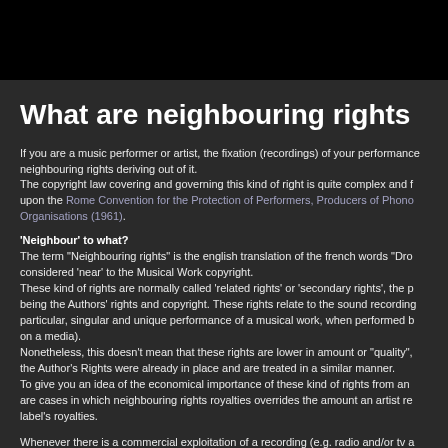What are neighbouring rights
If you are a music performer or artist, the fixation (recordings) of your performance neighbouring rights deriving out of it.
The copyright law covering and governing this kind of right is quite complex and f upon the Rome Convention for the Protection of Performers, Producers of Phono Organisations (1961).
'Neighbour' to what?
The term "Neighbouring rights" is the english translation of the french words "Dro considered 'near' to the Musical Work copyright.
These kind of rights are normally called 'related rights' or 'secondary rights', the p being the Authors' rights and copyright. These rights relate to the sound recording particular, singular and unique performance of a musical work, when performed b on a media).
Nonetheless, this doesn't mean that these rights are lower in amount or "quality", the Author's Rights were already in place and are treated in a similar manner.
To give you an idea of the economical importance of these kind of rights from an are cases in which neighbouring rights royalties overrides the amount an artist re label's royalties.
Whenever there is a commercial exploitation of a recording (e.g. radio and/or tv a